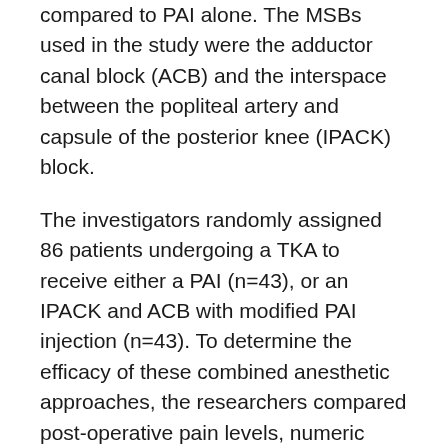compared to PAI alone. The MSBs used in the study were the adductor canal block (ACB) and the interspace between the popliteal artery and capsule of the posterior knee (IPACK) block.
The investigators randomly assigned 86 patients undergoing a TKA to receive either a PAI (n=43), or an IPACK and ACB with modified PAI injection (n=43). To determine the efficacy of these combined anesthetic approaches, the researchers compared post-operative pain levels, numeric rating scale (NRS) pain scores, pain outcomes, and opioid consumption.
On post-operative day 1, the group that received a combination of IPACK block and ACB with PAI reported lower NRS pain scores compared with the group who received PAI only (1.7 versus 5). There was a significant difference in pain scores on ambulation